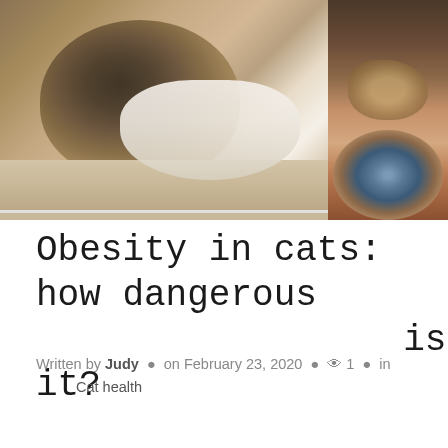[Figure (photo): Two cat photos: a tabby cat lying on a wooden floor (left/main), and a close-up of a Persian or exotic cat face with blue eyes (right corner)]
Obesity in cats: how dangerous is it?
Written by Judy • on February 23, 2020 • 👁 1 • in Cat health